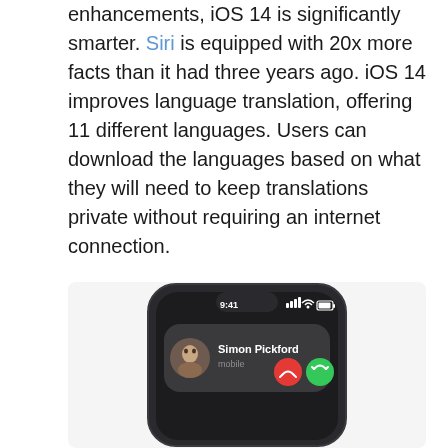enhancements, iOS 14 is significantly smarter. Siri is equipped with 20x more facts than it had three years ago. iOS 14 improves language translation, offering 11 different languages. Users can download the languages based on what they will need to keep translations private without requiring an internet connection.

Apple has also introduced a number of UI enhancements to help make the most of screen real estate:
[Figure (photo): iPhone mockup showing an incoming call notification from Simon Pickford (mobile) with red decline and green accept buttons. Status bar shows 9:41 time, signal, wifi, and battery icons.]